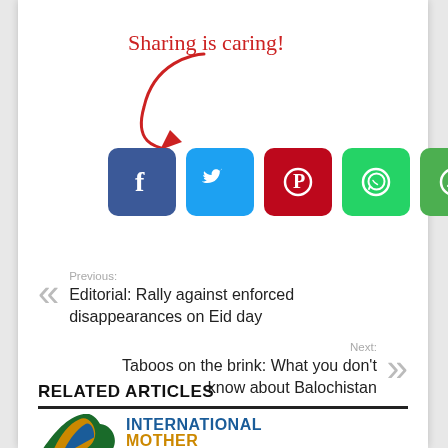Sharing is caring!
[Figure (illustration): Red hand-drawn arrow pointing downward-left toward social share buttons]
[Figure (infographic): Row of five social media share buttons: Facebook (blue), Twitter (light blue), Pinterest (red), WhatsApp (green), Share/other (dark green)]
Previous: Editorial: Rally against enforced disappearances on Eid day
Next: Taboos on the brink: What you don't know about Balochistan
RELATED ARTICLES
[Figure (logo): International Mother Language logo — colorful wave/stripe design with bold text 'INTERNATIONAL MOTHER LANGUAGE']